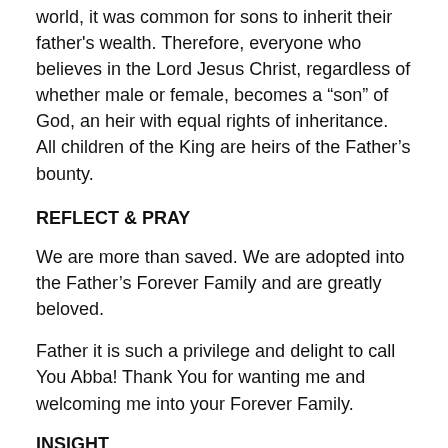world, it was common for sons to inherit their father's wealth. Therefore, everyone who believes in the Lord Jesus Christ, regardless of whether male or female, becomes a “son” of God, an heir with equal rights of inheritance. All children of the King are heirs of the Father’s bounty.
REFLECT & PRAY
We are more than saved. We are adopted into the Father’s Forever Family and are greatly beloved.
Father it is such a privilege and delight to call You Abba! Thank You for wanting me and welcoming me into your Forever Family.
INSIGHT